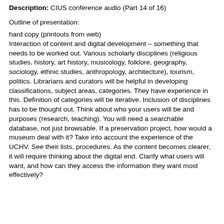Description: CIUS conference audio (Part 14 of 16)
Outline of presentation:
hard copy (printouts from web)
Interaction of content and digital development – something that needs to be worked out. Various scholarly disciplines (religious studies, history, art history, musicology, folklore, geography, sociology, ethnic studies, anthropology, architecture), tourism, politics. Librarians and curators will be helpful in developing classifications, subject areas, categories. They have experience in this. Definition of categories will be iterative. Inclusion of disciplines has to be thought out. Think about who your users will be and purposes (research, teaching). You will need a searchable database, not just browsable. If a preservation project, how would a museum deal with it? Take into account the experience of the UCHV. See their lists, procedures. As the content becomes clearer, it will require thinking about the digital end. Clarify what users will want, and how can they access the information they want most effectively?